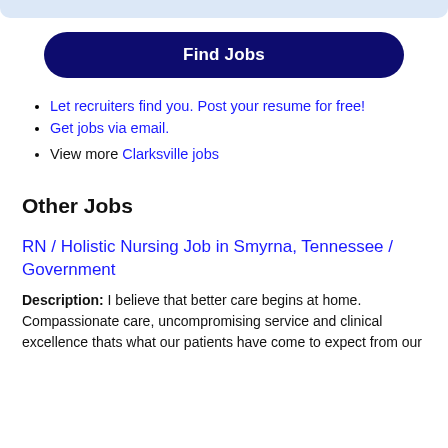Let recruiters find you. Post your resume for free!
Get jobs via email.
View more Clarksville jobs
Other Jobs
RN / Holistic Nursing Job in Smyrna, Tennessee / Government
Description: I believe that better care begins at home. Compassionate care, uncompromising service and clinical excellence thats what our patients have come to expect from our